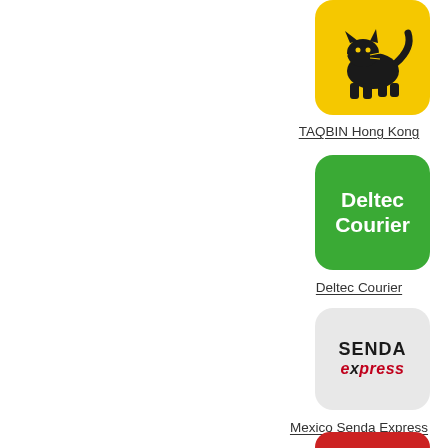[Figure (logo): TAQBIN Hong Kong logo - black cat silhouette on yellow rounded square background]
TAQBIN Hong Kong
[Figure (logo): Deltec Courier logo - white text 'Deltec Courier' on green rounded square background]
Deltec Courier
[Figure (logo): Senda Express logo - black 'SENDA' and red 'express' text on light grey rounded square background]
Mexico Senda Express
[Figure (logo): Partially visible red rounded square logo at bottom of page]